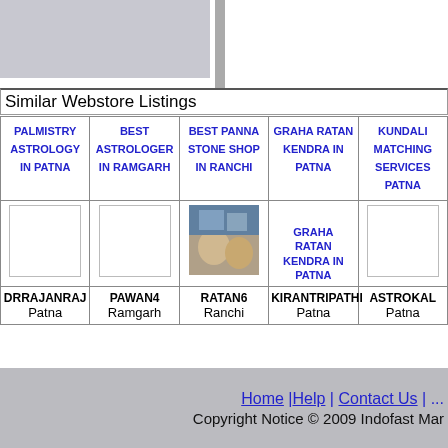Similar Webstore Listings
| PALMISTRY ASTROLOGY IN PATNA | BEST ASTROLOGER IN RAMGARH | BEST PANNA STONE SHOP IN RANCHI | GRAHA RATAN KENDRA IN PATNA | KUNDALI MATCHING SERVICES PATNA |
| --- | --- | --- | --- | --- |
| DRRAJANRAJ Patna | PAWAN4 Ramgarh | RATAN6 Ranchi | KIRANTRIPATHI Patna | ASTROKAL Patna |
Home | Help | Contact Us | ... Copyright Notice © 2009 Indofast Mar